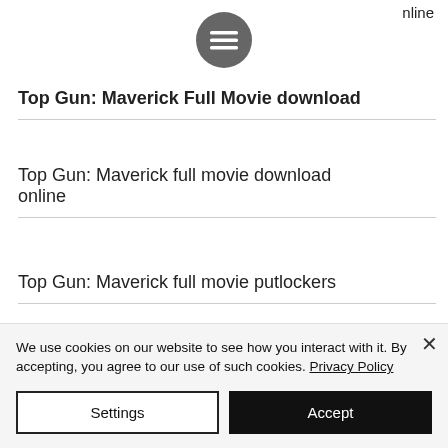nline
[Figure (other): Hamburger menu button - dark gray circle with three horizontal white lines]
Top Gun: Maverick Full Movie download
Top Gun: Maverick full movie download online
Top Gun: Maverick full movie putlockers
We use cookies on our website to see how you interact with it. By accepting, you agree to our use of such cookies. Privacy Policy
Settings
Accept